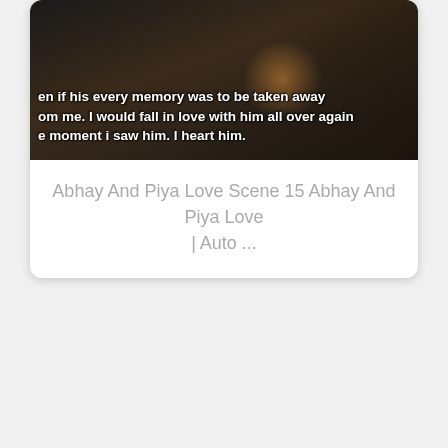[Figure (screenshot): Dark romantic scene thumbnail with subtitle text overlay reading 'en if his every memory was to be taken away om me. I would fall in love with him all over again e moment i saw him. I heart him.' with warm amber glow in background]
Abhay And Piya Love Scene 15 Abhay And Piya Love | Auto ...
[Figure (screenshot): Dark romantic promo image showing two people - a man and woman in close embrace against dark gray background, with 'Pyaar kii' logo text visible in bottom left corner]